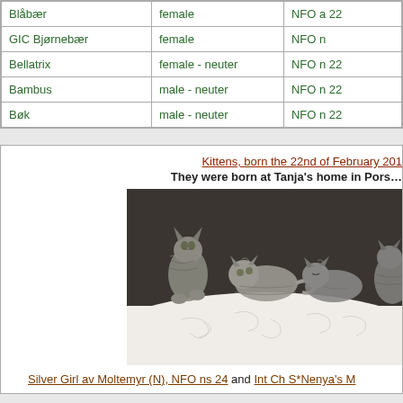| Name | Sex | Breed/Color |
| --- | --- | --- |
| Blåbær | female | NFO a 22 |
| GIC Bjørnebær | female | NFO n |
| Bellatrix | female - neuter | NFO n 22 |
| Bambus | male - neuter | NFO n 22 |
| Bøk | male - neuter | NFO n 22 |
Kittens, born the 22nd of February 201...
They were born at Tanja's home in Pors...
[Figure (photo): A row of several Norwegian Forest kittens lying together on a white decorative blanket/pillow against a dark brown sofa background]
Silver Girl av Moltemyr (N), NFO ns 24 and Int Ch S*Nenya's ...